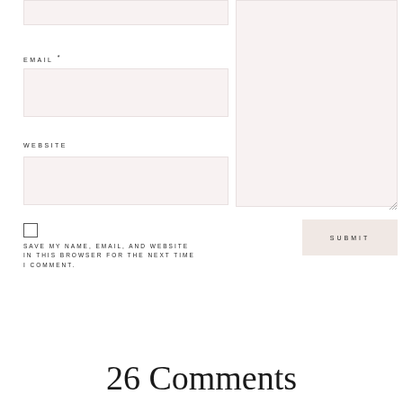EMAIL *
WEBSITE
SAVE MY NAME, EMAIL, AND WEBSITE IN THIS BROWSER FOR THE NEXT TIME I COMMENT.
SUBMIT
26 Comments